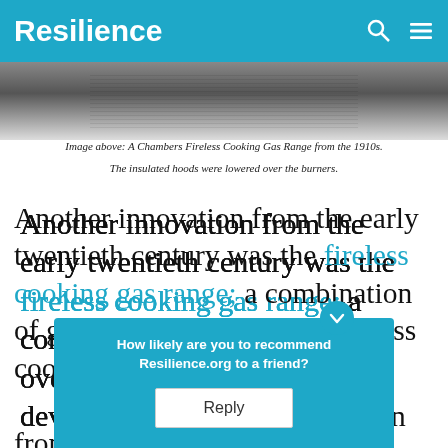Resilience
[Figure (photo): Partial black and white photograph of a Chambers Fireless Cooking Gas Range from the 1910s, showing the top of the appliance]
Image above: A Chambers Fireless Cooking Gas Range from the 1910s.
The insulated hoods were lowered over the burners.
Another innovation from the early twentieth century was the fireless cooking gas range; a combination of gas stove, gas oven and fireless cooker. The device obviated the need to move cooking utensils from the stove to the fireless cooker, making
How likely are you to recommend Resilience.org to a friend?
Reply